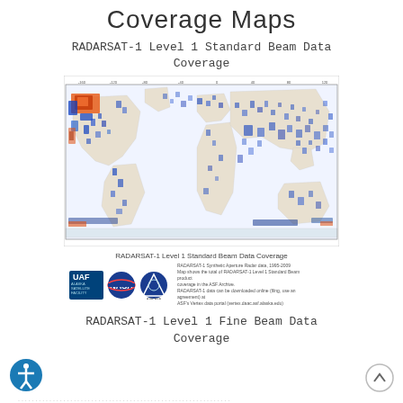Coverage Maps
RADARSAT-1 Level 1 Standard Beam Data Coverage
[Figure (map): World map showing RADARSAT-1 Level 1 Standard Beam Data Coverage. Blue patches scattered across globe indicating data coverage, with orange/red concentrated areas over North America (Alaska region). White background world map with blue and colored data overlay.]
RADARSAT-1 Level 1 Standard Beam Data Coverage
[Figure (logo): UAF Alaska Satellite Facility logo, NASA logo, and ASF logo arranged horizontally with text noting RADARSAT-1 Synthetic Aperture Radar data 1995-2009.]
RADARSAT-1 Level 1 Fine Beam Data Coverage